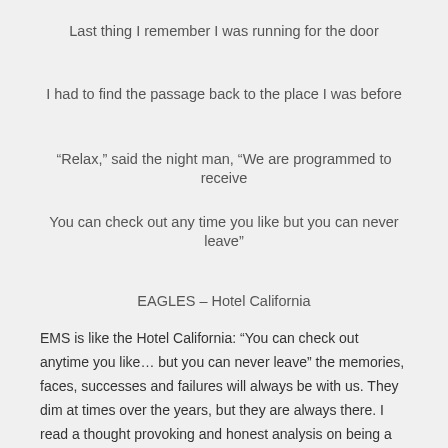Last thing I remember I was running for the door
I had to find the passage back to the place I was before
“Relax,” said the night man, “We are programmed to receive
You can check out any time you like but you can never leave”
EAGLES – Hotel California
EMS is like the Hotel California: “You can check out anytime you like… but you can never leave” the memories, faces, successes and failures will always be with us. They dim at times over the years, but they are always there. I read a thought provoking and honest analysis on being a paramedic a few months back and have been mulling over her post, digging through ramblings from